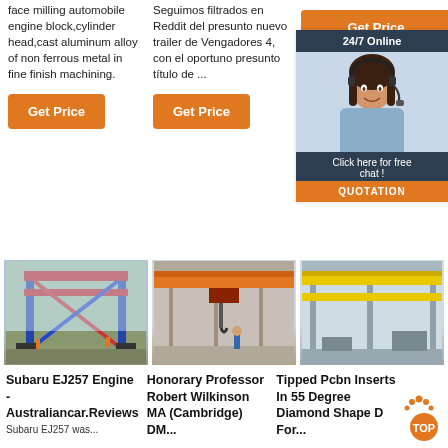face milling automobile engine block,cylinder head,cast aluminum alloy of non ferrous metal in fine finish machining.
Seguimos filtrados en Reddit del presunto nuevo trailer de Vengadores 4, con el oportuno presunto título de ...
[Figure (other): Get Price button (orange)]
[Figure (other): Get Price button (orange)]
[Figure (other): Get Price button (orange)]
[Figure (other): 24/7 Online widget with support agent photo, Click here for free chat, QUOTATION button]
[Figure (photo): Large gantry crane structure outdoors on construction site]
[Figure (photo): Orange overhead bridge crane inside industrial building]
[Figure (photo): Yellow overhead cranes inside large factory building]
Subaru EJ257 Engine - Australiancar.Reviews
Honorary Professor Robert Wilkinson MA (Cambridge) DM...
Tipped Pcbn Inserts In 55 Degree Diamond Shape D For...